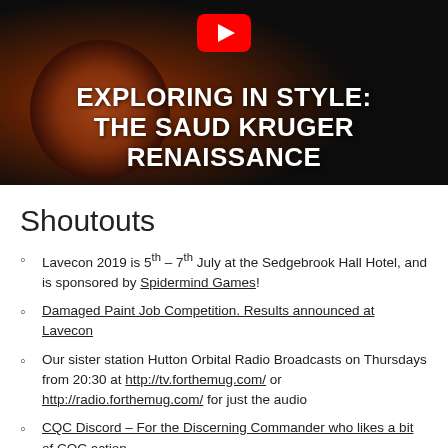[Figure (screenshot): YouTube thumbnail for video titled 'EXPLORING IN STYLE: THE SAUD KRUGER RENAISSANCE' with dark space background and planet, YouTube play button icon visible at top center]
Shoutouts
Lavecon 2019 is 5th – 7th July at the Sedgebrook Hall Hotel, and is sponsored by Spidermind Games!
Damaged Paint Job Competition. Results announced at Lavecon
Our sister station Hutton Orbital Radio Broadcasts on Thursdays from 20:30 at http://tv.forthemug.com/ or http://radio.forthemug.com/ for just the audio
CQC Discord – For the Discerning Commander who likes a bit of CQC action
Next week's Main Discussion – What non official extra makes Elite Dangerous come alive for you? Enhances your